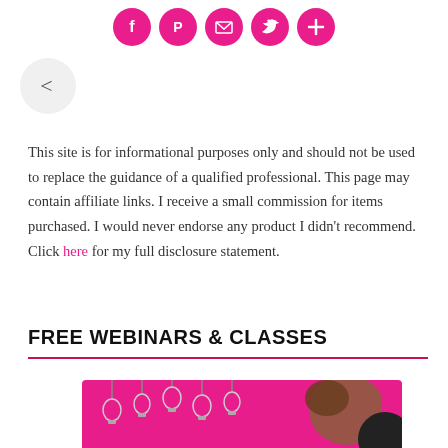[Social share buttons: Facebook, Pinterest, Email, Twitter, More]
[Figure (infographic): Navigation back button (left arrow in gray circle)]
This site is for informational purposes only and should not be used to replace the guidance of a qualified professional. This page may contain affiliate links. I receive a small commission for items purchased. I would never endorse any product I didn't recommend. Click here for my full disclosure statement.
FREE WEBINARS & CLASSES
[Figure (photo): Pink background image with hanging light bulbs and a woman with hair in a bun, partial view]